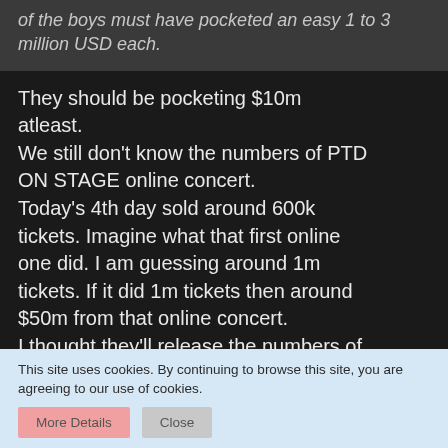of the boys must have pocketed an easy 1 to 3 million USD each.
They should be pocketing $10m atleast. We still don't know the numbers of PTD ON STAGE online concert. Today's 4th day sold around 600k tickets. Imagine what that first online one did. I am guessing around 1m tickets. If it did 1m tickets then around $50m from that online concert. I thought they'll release the numbers of both online n offline one after this offline concert but I guess HYBE is still counting money BTS have generated in less than a month.
This site uses cookies. By continuing to browse this site, you are agreeing to our use of cookies.